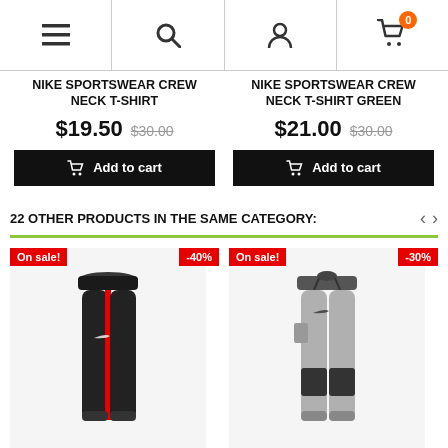Navigation bar with menu, search, account, and cart (0 items)
NIKE SPORTSWEAR CREW NECK T-SHIRT
$19.50  $30.00
Add to cart
NIKE SPORTSWEAR CREW NECK T-SHIRT GREEN
$21.00  $30.00
Add to cart
22 OTHER PRODUCTS IN THE SAME CATEGORY:
[Figure (photo): Black Nike jogger pants with red side stripe, On sale! badge and -40% badge]
[Figure (photo): Grey Nike cargo jogger pants with black patches, On sale! badge and -30% badge]